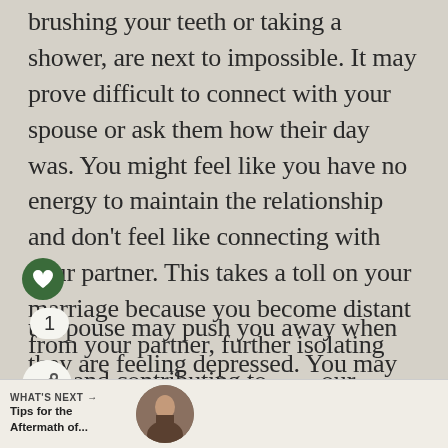brushing your teeth or taking a shower, are next to impossible. It may prove difficult to connect with your spouse or ask them how their day was. You might feel like you have no energy to maintain the relationship and don't feel like connecting with your partner. This takes a toll on your marriage because you become distant from your partner, further isolating you and contributing to your sadness.
ur spouse may push you away when they are feeling depressed. You may lose ng of connection because they seem too wrapped up in their depression to pay attention to you. It is likely that
[Figure (other): Green circular heart/like button icon, share button icon, and count '1' pill overlay on text]
[Figure (other): What's Next banner at bottom: 'WHAT'S NEXT → Tips for the Aftermath of...' with circular thumbnail image]